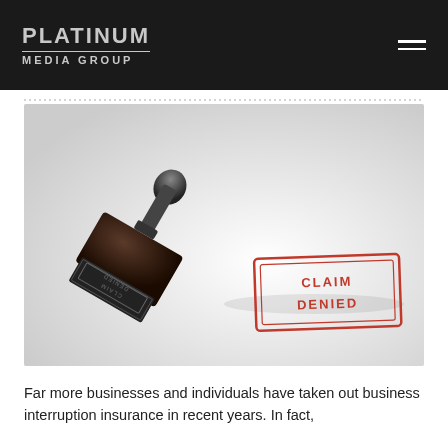PLATINUM MEDIA GROUP
[Figure (photo): A rubber stamp with 'CLAIM DENIED' text, shown at an angle with the impression of the stamp visible on a white surface in red ink reading 'CLAIM DENIED' inside a rectangular border.]
Far more businesses and individuals have taken out business interruption insurance in recent years. In fact,